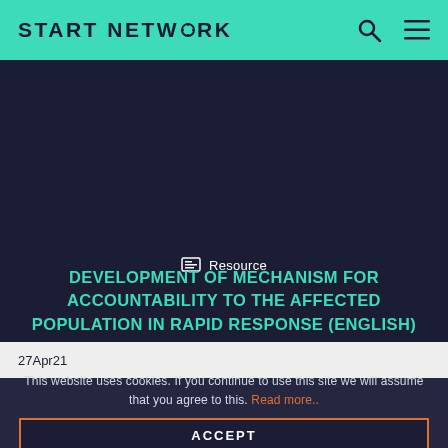START NETWORK
Resource
DEVELOPMENT OF MECHANISM FOR ACCOUNTABILITY TO THE AFFECTED POPULATION IN RAPID RESPONSE (ENGLISH)
27Apr21
This website uses cookies. If you continue to use this site we will assume that you agree to this. Read more..
ACCEPT